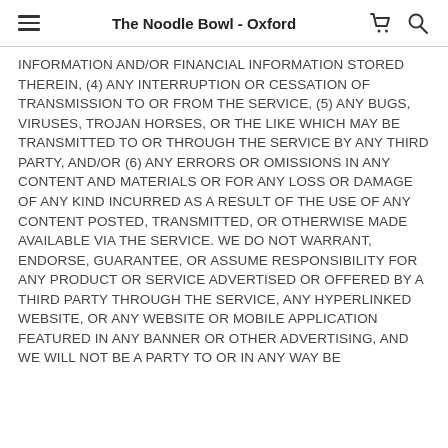The Noodle Bowl - Oxford
INFORMATION AND/OR FINANCIAL INFORMATION STORED THEREIN, (4) ANY INTERRUPTION OR CESSATION OF TRANSMISSION TO OR FROM THE SERVICE, (5) ANY BUGS, VIRUSES, TROJAN HORSES, OR THE LIKE WHICH MAY BE TRANSMITTED TO OR THROUGH THE SERVICE BY ANY THIRD PARTY, AND/OR (6) ANY ERRORS OR OMISSIONS IN ANY CONTENT AND MATERIALS OR FOR ANY LOSS OR DAMAGE OF ANY KIND INCURRED AS A RESULT OF THE USE OF ANY CONTENT POSTED, TRANSMITTED, OR OTHERWISE MADE AVAILABLE VIA THE SERVICE. WE DO NOT WARRANT, ENDORSE, GUARANTEE, OR ASSUME RESPONSIBILITY FOR ANY PRODUCT OR SERVICE ADVERTISED OR OFFERED BY A THIRD PARTY THROUGH THE SERVICE, ANY HYPERLINKED WEBSITE, OR ANY WEBSITE OR MOBILE APPLICATION FEATURED IN ANY BANNER OR OTHER ADVERTISING, AND WE WILL NOT BE A PARTY TO OR IN ANY WAY BE